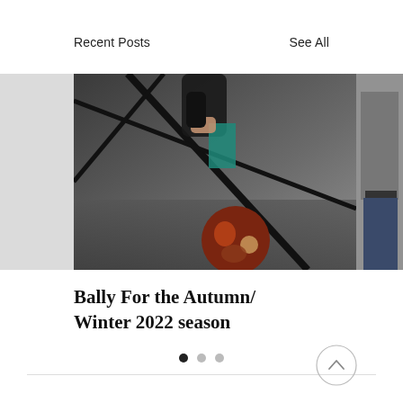Recent Posts
See All
[Figure (photo): Fashion editorial photo showing a person in a floral skirt holding black metal bars, dark moody background. Partially visible images on left and right edges.]
Bally For the Autumn/Winter 2022 season
[Figure (infographic): Three pagination dots, first dot filled black (active), second and third gray.]
[Figure (other): Circular back-to-top button with an upward chevron arrow, thin gray circle border.]